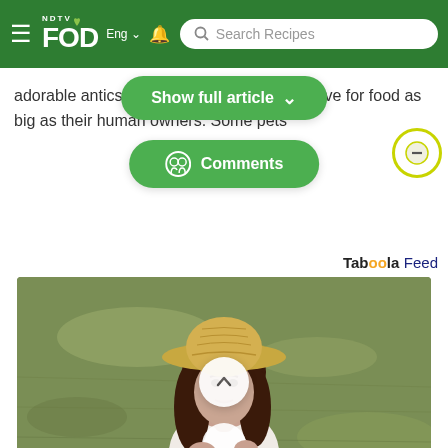NDTV FOOD Eng Search Recipes
adorable antics ... s that have a love for food as big as their human owners. Some pets
[Figure (screenshot): Show full article button (green pill-shaped button with dropdown chevron) and Comments button (green pill-shaped button with chat icon), and a circular stop/coin icon on the right]
Taboola Feed
[Figure (photo): Young woman with long brown hair wearing a straw hat and white t-shirt, sitting on green grass, holding a white round object near her face, looking at camera. A scroll-up arrow button overlays the center of the image.]